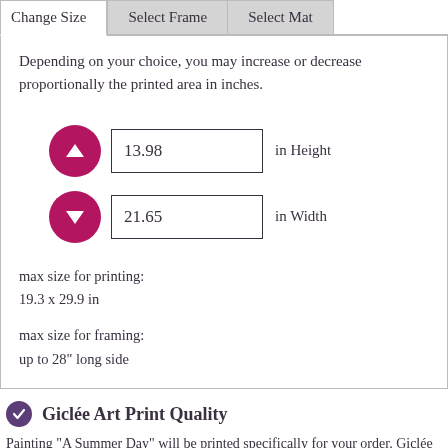Change Size | Select Frame | Select Mat
Depending on your choice, you may increase or decrease proportionally the printed area in inches.
[Figure (screenshot): Up arrow button (dark pink circle) with input field showing 13.98, labeled 'in Height']
[Figure (screenshot): Down arrow button (dark pink circle) with input field showing 21.65, labeled 'in Width']
max size for printing:
19.3 x 29.9 in
max size for framing:
up to 28" long side
Giclée Art Print Quality
Painting "A Summer Day" will be printed specifically for your order. Giclée printing technology lends the Canvas Print an incredible level of detail with bright and clear color.